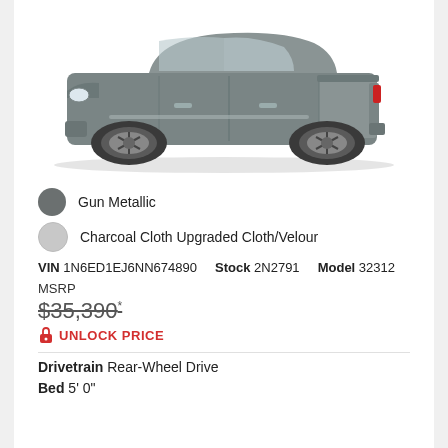[Figure (photo): Side profile photo of a gray pickup truck (Nissan Frontier) on a white background]
Gun Metallic
Charcoal Cloth Upgraded Cloth/Velour
VIN 1N6ED1EJ6NN674890   Stock 2N2791   Model 32312
MSRP
$35,390*
UNLOCK PRICE
Drivetrain Rear-Wheel Drive
Bed 5' 0"